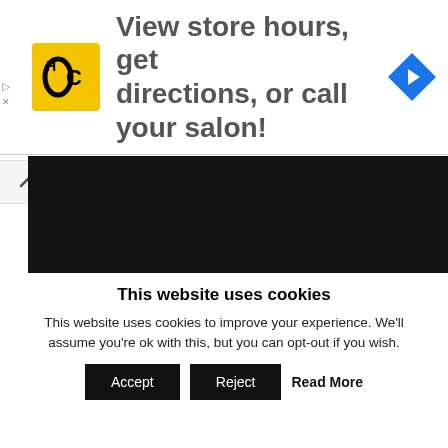[Figure (screenshot): Advertisement banner with HC logo (yellow square), text 'View store hours, get directions, or call your salon!', and a blue navigation diamond icon on the right]
[Figure (screenshot): Segway product comparison image on dark background showing three e-scooter/self-balancing models with Chinese specs: 玩家标配 4999元, 性能怪兽 7999元, 最终幻想 9999元 with detailed specs for each. Weibo watermark @Segway赛格威]
This website uses cookies
This website uses cookies to improve your experience. We'll assume you're ok with this, but you can opt-out if you wish.
Accept | Reject | Read More